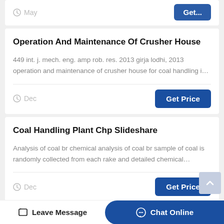May
Operation And Maintenance Of Crusher House
449 int. j. mech. eng. amp rob. res. 2013 girja lodhi, 2013 operation and maintenance of crusher house for coal handling i…
Dec
Coal Handling Plant Chp Slideshare
Analysis of coal br chemical analysis of coal br sample of coal is randomly collected from each rake and detailed chemical…
Dec
Leave Message
Chat Online